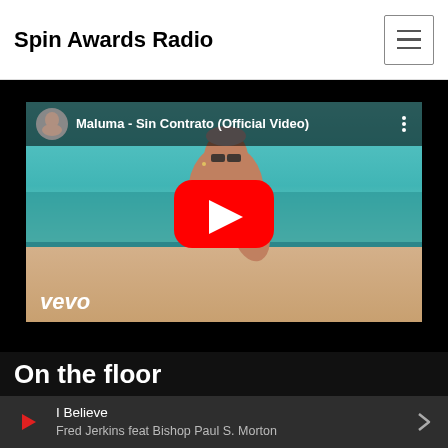Spin Awards Radio
[Figure (screenshot): YouTube video thumbnail for Maluma - Sin Contrato (Official Video) with vevo watermark, man with sunglasses and tattoos on beach, red YouTube play button overlay]
On the floor
I Believe
Fred Jerkins feat Bishop Paul S. Morton